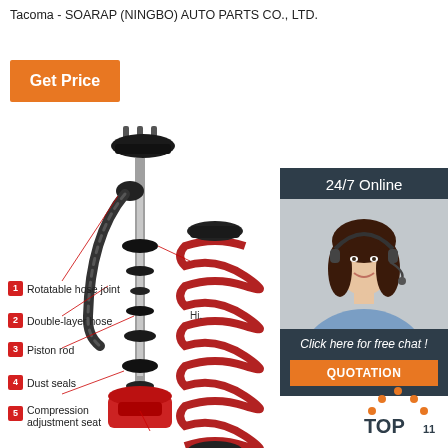Tacoma - SOARAP (NINGBO) AUTO PARTS CO., LTD.
Get Price
[Figure (infographic): 24/7 Online customer service representative chat panel with photo of woman wearing headset, 'Click here for free chat!' text, and QUOTATION button]
[Figure (engineering-diagram): Exploded diagram of a coilover suspension assembly (Toyota Tacoma) with numbered callout labels: 1-Rotatable hose joint, 2-Double-layer hose, 3-Piston rod, 4-Dust seals, 5-Compression adjustment seat. Red coil spring assembly shown on right side.]
1 Rotatable hose joint
2 Double-layer hose
3 Piston rod
4 Dust seals
5 Compression adjustment seat